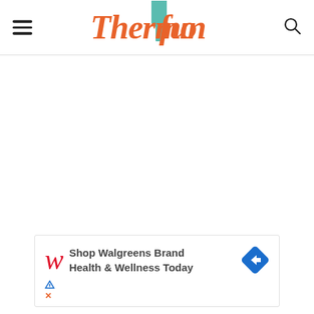ThermoFun
[Figure (logo): ThermoFun logo with orange/red script text and teal flag/bookmark icon]
[Figure (other): Walgreens advertisement: Shop Walgreens Brand Health & Wellness Today, with Walgreens W logo and blue navigation arrow icon]